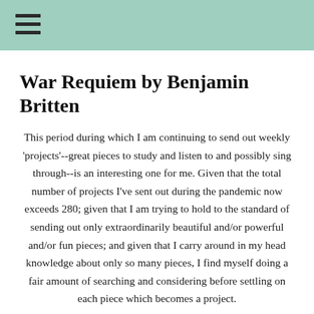War Requiem by Benjamin Britten
This period during which I am continuing to send out weekly 'projects'--great pieces to study and listen to and possibly sing through--is an interesting one for me. Given that the total number of projects I've sent out during the pandemic now exceeds 280; given that I am trying to hold to the standard of sending out only extraordinarily beautiful and/or powerful and/or fun pieces; and given that I carry around in my head knowledge about only so many pieces, I find myself doing a fair amount of searching and considering before settling on each piece which becomes a project.